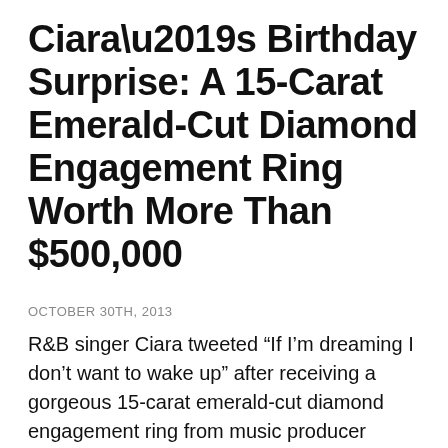Ciara’s Birthday Surprise: A 15-Carat Emerald-Cut Diamond Engagement Ring Worth More Than $500,000
OCTOBER 30TH, 2013
R&B singer Ciara tweeted “If I’m dreaming I don’t want to wake up” after receiving a gorgeous 15-carat emerald-cut diamond engagement ring from music producer Future on her 28th birthday.